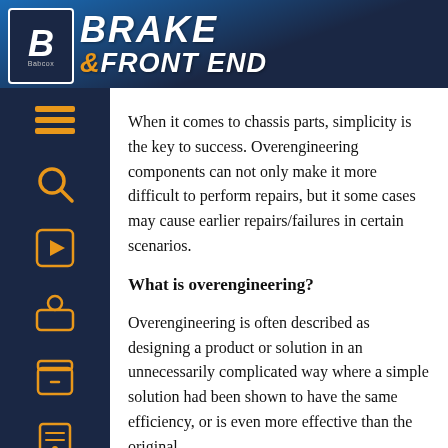BRAKE & FRONT END
When it comes to chassis parts, simplicity is the key to success. Overengineering components can not only make it more difficult to perform repairs, but it some cases may cause earlier repairs/failures in certain scenarios.
What is overengineering?
Overengineering is often described as designing a product or solution in an unnecessarily complicated way where a simple solution had been shown to have the same efficiency, or is even more effective than the original.
In the aftermarket, problems the OE continually...